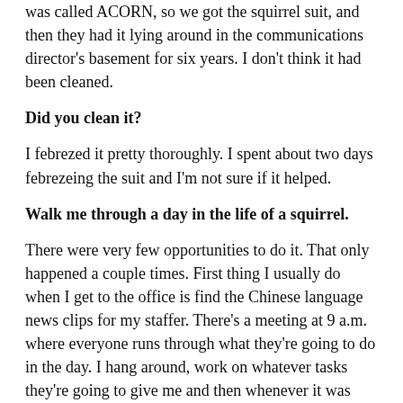was called ACORN, so we got the squirrel suit, and then they had it lying around in the communications director's basement for six years. I don't think it had been cleaned.
Did you clean it?
I febrezed it pretty thoroughly. I spent about two days febrezeing the suit and I'm not sure if it helped.
Walk me through a day in the life of a squirrel.
There were very few opportunities to do it. That only happened a couple times. First thing I usually do when I get to the office is find the Chinese language news clips for my staffer. There's a meeting at 9 a.m. where everyone runs through what they're going to do in the day. I hang around, work on whatever tasks they're going to give me and then whenever it was time to do my squirrel event, throw my costume in a big trash bag, throw it over my shoulder and go wherever we needed to go. Either I'd take it there or I'd put it on in the office and take a taxi or an Uber there. That happened a few times where I'd walk out of the office in the suit, hop into an Uber and take the head off because that thing is obnoxiously hot and really hard to breathe in.
One time a local newspaper, the National Journal, was doing a giveaway. They hired a food truck to give away chicken and waffles in